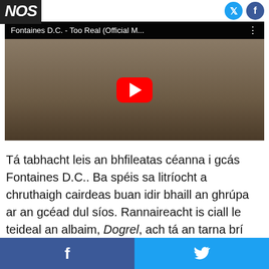NOS
[Figure (screenshot): YouTube video thumbnail for Fontaines D.C. - Too Real (Official M...) showing people in a room with a YouTube play button overlay]
Tá tabhacht leis an bhfileatas céanna i gcás Fontaines D.C.. Ba spéis sa litríocht a chruthaigh cairdeas buan idir bhaill an ghrúpa ar an gcéad dul síos. Rannaireacht is ciall le teideal an albaim, Dogrel, ach tá an tarna brí atá leis an bhfocal i gceist chomh maith: ráiméis.
Ar nós saothar litríochta Kavanagh, Behan agus
f    🐦